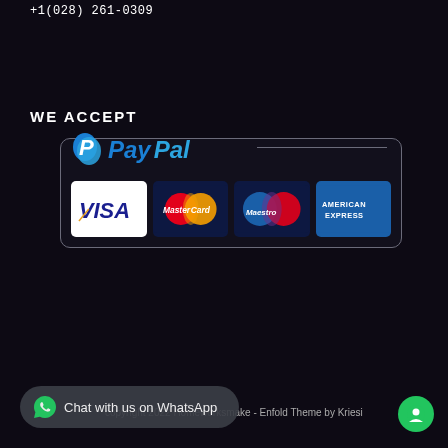+1(028) 261-0309
WE ACCEPT
[Figure (logo): Payment methods banner showing PayPal logo at top and four card logos below: VISA, MasterCard, Maestro, American Express, inside a rounded rectangle border]
Chat with us on WhatsApp
copyright 2022 Homeworksmake - Enfold Theme by Kriesi